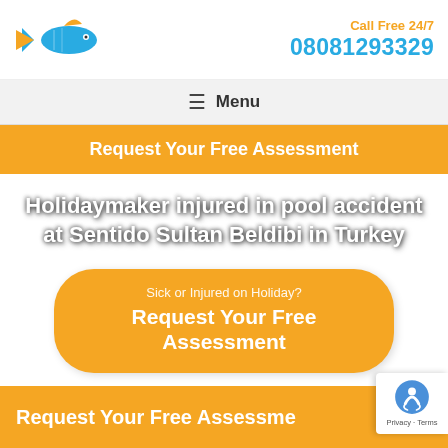Call Free 24/7 08081293329
≡ Menu
Request Your Free Assessment
Holidaymaker injured in pool accident at Sentido Sultan Beldibi in Turkey
Sick or Injured on Holiday? Request Your Free Assessment
Request Your Free Assessment